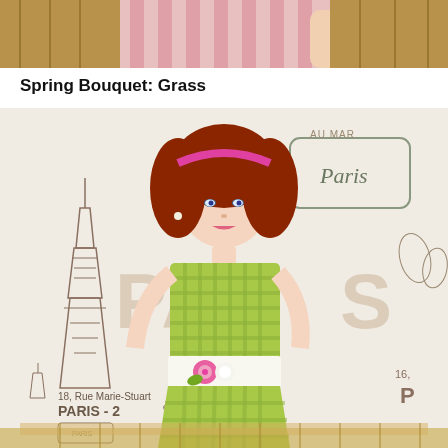[Figure (photo): Partial top view of a fashion doll wearing a pink and white striped or checkered outfit, cropped at the waist, with a golden/ornate background]
Spring Bouquet: Grass
[Figure (photo): A red-haired fashion doll (Barbie-style) with a pink headband wearing a green and white gingham/checkered sleeveless dress with a white sash belt and pink flower corsage, posed in front of a Paris-themed background featuring Eiffel Tower illustrations and text reading 'PARIS - 2e ar' and '18 Rue Marie-Stuart', with a miniature furniture piece visible at the bottom]